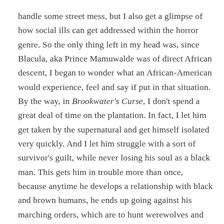handle some street mess, but I also get a glimpse of how social ills can get addressed within the horror genre. So the only thing left in my head was, since Blacula, aka Prince Mamuwalde was of direct African descent, I began to wonder what an African-American would experience, feel and say if put in that situation. By the way, in Brookwater's Curse, I don't spend a great deal of time on the plantation. In fact, I let him get taken by the supernatural and get himself isolated very quickly. And I let him struggle with a sort of survivor's guilt, while never losing his soul as a black man. This gets him in trouble more than once, because anytime he develops a relationship with black and brown humans, he ends up going against his marching orders, which are to hunt werewolves and protect the secret society of monsters in general.